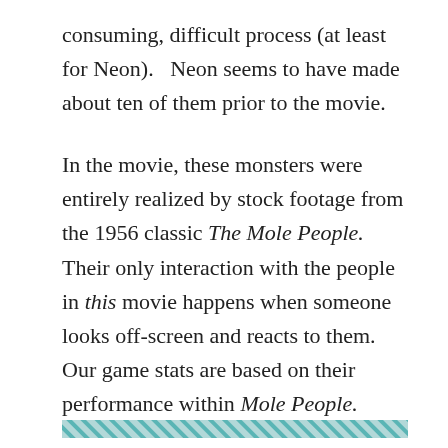consuming, difficult process (at least for Neon).   Neon seems to have made about ten of them prior to the movie.
In the movie, these monsters were entirely realized by stock footage from the 1956 classic The Mole People.   Their only interaction with the people in this movie happens when someone looks off-screen and reacts to them.   Our game stats are based on their performance within Mole People.